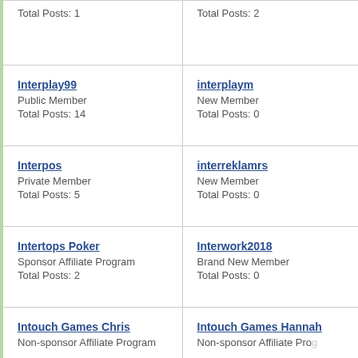Total Posts: 1
Total Posts: 2
Interplay99
Public Member
Total Posts: 14
interplaym
New Member
Total Posts: 0
Interpos
Private Member
Total Posts: 5
interreklamrs
New Member
Total Posts: 0
Intertops Poker
Sponsor Affiliate Program
Total Posts: 2
Interwork2018
Brand New Member
Total Posts: 0
Intouch Games Chris
Non-sponsor Affiliate Program
Intouch Games Hannah
Non-sponsor Affiliate Prog